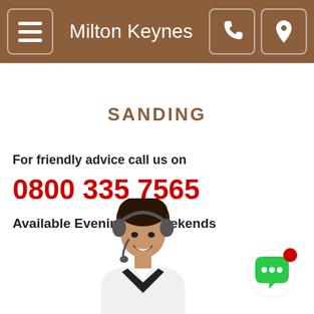Milton Keynes
SANDING
For friendly advice call us on
0800 335 7565
Available Evenings & Weekends
[Figure (photo): Customer service representative woman with headset smiling]
[Figure (other): Green chat bubble icon with notification dot]